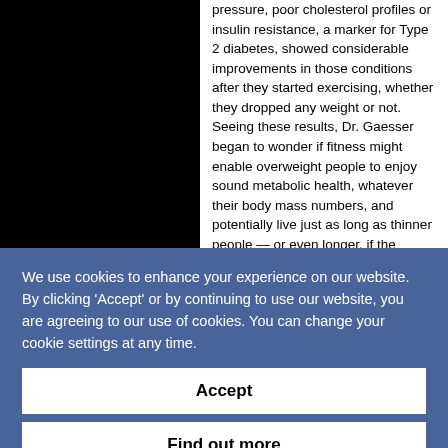[Figure (photo): Black image block on the left side of the article]
pressure, poor cholesterol profiles or insulin resistance, a marker for Type 2 diabetes, showed considerable improvements in those conditions after they started exercising, whether they dropped any weight or not. Seeing these results, Dr. Gaesser began to wonder if fitness might enable overweight people to enjoy sound metabolic health, whatever their body mass numbers, and potentially live just as long as thinner people — or even longer, if the slender people happened to be out of
We use cookies to enhance your experience on our website. By clicking 'Accept' or by continuing to use our website, you are agreeing to our use of cookies. You can change your cookie settings at any time.
Accept
Find out more